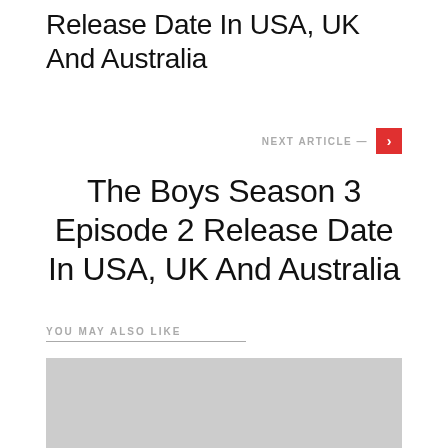Release Date In USA, UK And Australia
NEXT ARTICLE —
The Boys Season 3 Episode 2 Release Date In USA, UK And Australia
YOU MAY ALSO LIKE
[Figure (photo): Grey/light gray image placeholder rectangle]